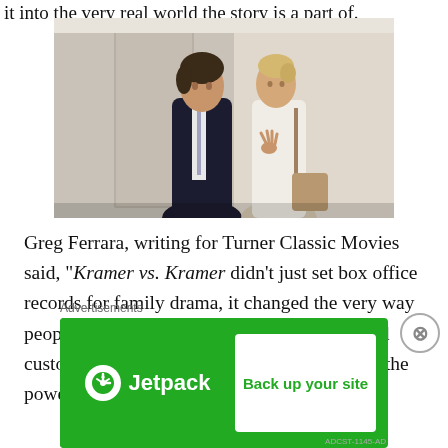it into the very real world the story is a part of.
[Figure (photo): Two people (a man in a dark suit and a woman in a white shirt with a beige bag) facing each other in what appears to be a hallway or corridor, in a scene from Kramer vs. Kramer]
Greg Ferrara, writing for Turner Classic Movies said, “Kramer vs. Kramer didn’t just set box office records for family drama, it changed the very way people thought about divorce, family and child custody.” I think this is a great way to sum up the powerful story told in this incredible movie. If
Advertisements
[Figure (other): Jetpack advertisement banner with green background, Jetpack logo on the left and 'Back up your site' button on the right]